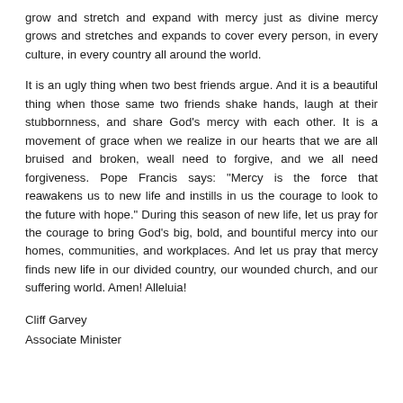grow and stretch and expand with mercy just as divine mercy grows and stretches and expands to cover every person, in every culture, in every country all around the world.
It is an ugly thing when two best friends argue. And it is a beautiful thing when those same two friends shake hands, laugh at their stubbornness, and share God's mercy with each other. It is a movement of grace when we realize in our hearts that we are all bruised and broken, weall need to forgive, and we all need forgiveness. Pope Francis says: "Mercy is the force that reawakens us to new life and instills in us the courage to look to the future with hope." During this season of new life, let us pray for the courage to bring God's big, bold, and bountiful mercy into our homes, communities, and workplaces. And let us pray that mercy finds new life in our divided country, our wounded church, and our suffering world. Amen! Alleluia!
Cliff Garvey
Associate Minister